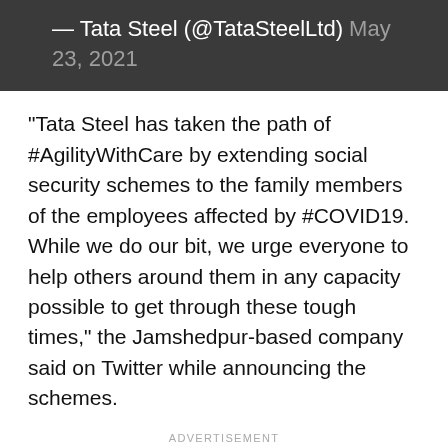— Tata Steel (@TataSteelLtd) May 23, 2021
“Tata Steel has taken the path of #AgilityWithCare by extending social security schemes to the family members of the employees affected by #COVID19. While we do our bit, we urge everyone to help others around them in any capacity possible to get through these tough times,” the Jamshedpur-based company said on Twitter while announcing the schemes.
ADVERTISEMENT